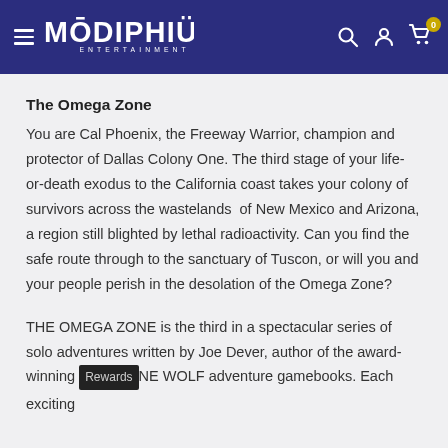Modiphius Entertainment — navigation header with hamburger menu, logo, search, account, and cart icons
The Omega Zone
You are Cal Phoenix, the Freeway Warrior, champion and protector of Dallas Colony One. The third stage of your life-or-death exodus to the California coast takes your colony of survivors across the wastelands  of New Mexico and Arizona, a region still blighted by lethal radioactivity. Can you find the safe route through to the sanctuary of Tuscon, or will you and your people perish in the desolation of the Omega Zone?
THE OMEGA ZONE is the third in a spectacular series of solo adventures written by Joe Dever, author of the award-winning LONE WOLF adventure gamebooks. Each exciting